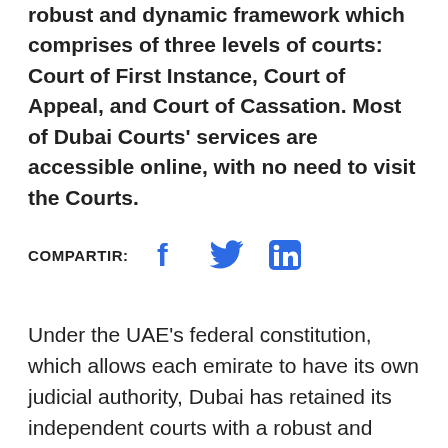robust and dynamic framework which comprises of three levels of courts: Court of First Instance, Court of Appeal, and Court of Cassation. Most of Dubai Courts' services are accessible online, with no need to visit the Courts.
COMPARTIR: [Facebook icon] [Twitter icon] [LinkedIn icon]
Under the UAE's federal constitution, which allows each emirate to have its own judicial authority, Dubai has retained its independent courts with a robust and dynamic legal and regulatory framework, which has significantly underpinned the economic and cultural growth of the Emirate over the years.